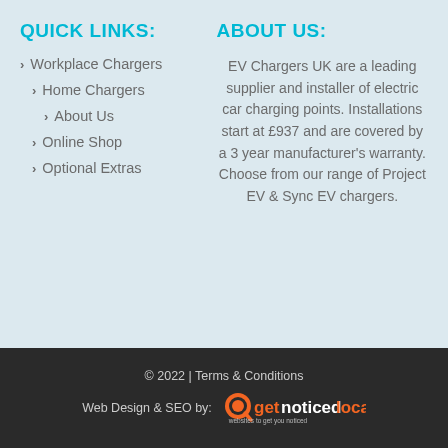QUICK LINKS:
> Workplace Chargers
> Home Chargers
> About Us
> Online Shop
> Optional Extras
ABOUT US:
EV Chargers UK are a leading supplier and installer of electric car charging points. Installations start at £937 and are covered by a 3 year manufacturer's warranty. Choose from our range of Project EV & Sync EV chargers.
© 2022 | Terms & Conditions Web Design & SEO by: getnoticedlocally websites to get you noticed